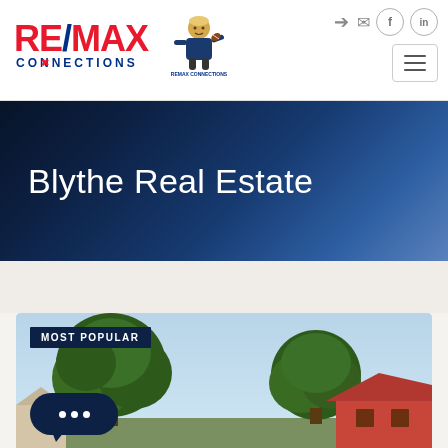[Figure (logo): RE/MAX Connections logo with red and blue text and agent mascot logo]
[Figure (screenshot): Navigation hamburger menu icon]
Blythe Real Estate
[Figure (photo): Property listing photo showing trees and rooftop with blue sky, labeled MOST POPULAR]
[Figure (other): Chat bubble button with three dots]